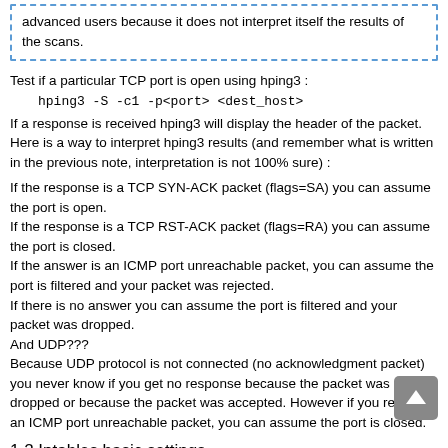advanced users because it does not interpret itself the results of the scans.
Test if a particular TCP port is open using hping3 :
hping3 -S -c1 -p<port> <dest_host>
If a response is received hping3 will display the header of the packet. Here is a way to interpret hping3 results (and remember what is written in the previous note, interpretation is not 100% sure) :
If the response is a TCP SYN-ACK packet (flags=SA) you can assume the port is open.
If the response is a TCP RST-ACK packet (flags=RA) you can assume the port is closed.
If the answer is an ICMP port unreachable packet, you can assume the port is filtered and your packet was rejected.
If there is no answer you can assume the port is filtered and your packet was dropped.
And UDP???
Because UDP protocol is not connected (no acknowledgment packet) you never know if you get no response because the packet was dropped or because the packet was accepted. However if you receive an ICMP port unreachable packet, you can assume the port is closed.
1.2 Iptables basic settings